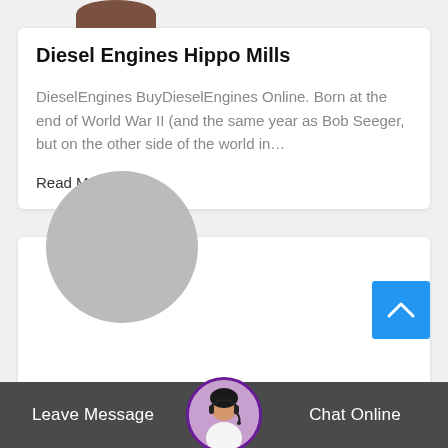[Figure (photo): Partial view of a person's head/photo at top of card, cropped]
Diesel Engines Hippo Mills
DieselEngines BuyDieselEngines Online. Born at the end of World War II (and the same year as Bob Seeger, but on the other side of the world in…
Read More →
[Figure (photo): Large gray placeholder circle for profile image in second card]
[Figure (photo): Chat support avatar circle with woman wearing headset, purple border]
[Figure (other): Blue scroll-to-top button with upward chevron arrow]
Leave Message   Chat Online